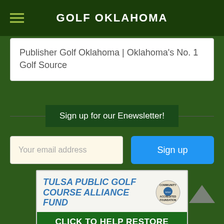GOLF OKLAHOMA
Publisher Golf Oklahoma | Oklahoma's No. 1 Golf Source
Sign up for our Enewsletter!
Your email address
Sign up
[Figure (infographic): Tulsa Public Golf Course Alliance Fund advertisement banner with 'Click to Help Restore Tulsa Golf Courses' call to action and Community Accredited Foundation badge]